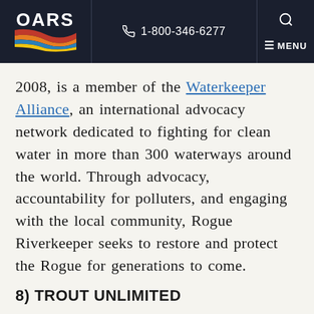OARS | 1-800-346-6277 | MENU
2008, is a member of the Waterkeeper Alliance, an international advocacy network dedicated to fighting for clean water in more than 300 waterways around the world. Through advocacy, accountability for polluters, and engaging with the local community, Rogue Riverkeeper seeks to restore and protect the Rogue for generations to come.
8) TROUT UNLIMITED
If you've ever cast a fly, watched a fish